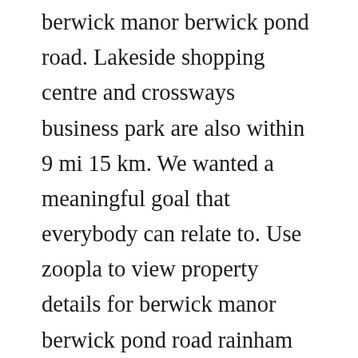berwick manor berwick pond road. Lakeside shopping centre and crossways business park are also within 9 mi 15 km. We wanted a meaningful goal that everybody can relate to. Use zoopla to view property details for berwick manor berwick pond road rainham rm 9el including a current value estimate, local information, birdseye views and more. Hotel gallery events weddings contact 01708 555 586 book room. Find all the transport options for your trip from london victoria to rainham station right here. Comments and questions about history and people of rainham kent.